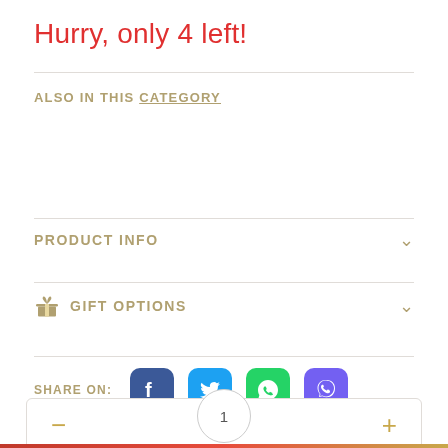Hurry, only 4 left!
ALSO IN THIS CATEGORY
PRODUCT INFO
GIFT OPTIONS
SHARE ON: [Facebook] [Twitter] [WhatsApp] [Viber]
- 1 +